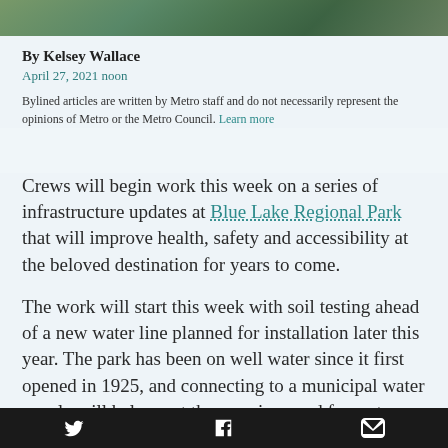[Figure (photo): Aerial or nature photo strip showing green trees/park landscape at the top of the page]
By Kelsey Wallace
April 27, 2021 noon
Bylined articles are written by Metro staff and do not necessarily represent the opinions of Metro or the Metro Council. Learn more
Crews will begin work this week on a series of infrastructure updates at Blue Lake Regional Park that will improve health, safety and accessibility at the beloved destination for years to come.
The work will start this week with soil testing ahead of a new water line planned for installation later this year. The park has been on well water since it first opened in 1925, and connecting to a municipal water supply will help meet the growing need for water and
Twitter  Facebook  Email